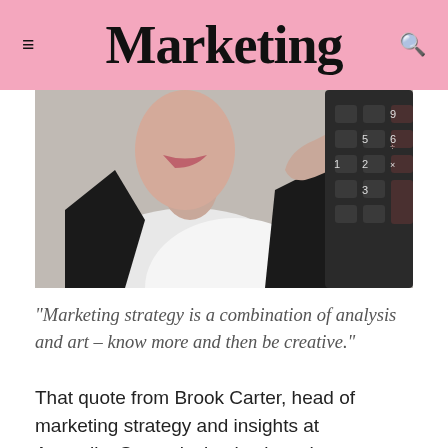Marketing
[Figure (photo): Close-up photo of a person in a black suit and white shirt pressing keys on a calculator with their finger, lower face visible with lips.]
“Marketing strategy is a combination of analysis and art – know more and then be creative.”
That quote from Brook Carter, head of marketing strategy and insights at AustralianSuper, is timely given the recent interest and/or hype in the use of business analytics as a means of understanding useful patterns within ‘big data’. This article is based